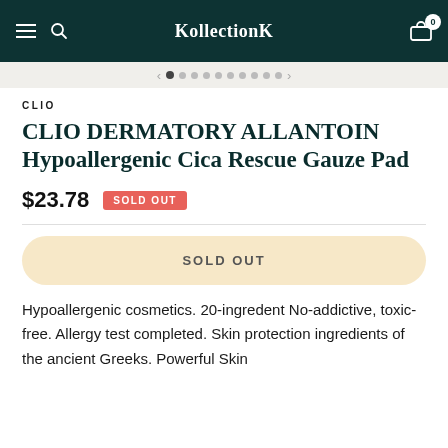KollectionK
CLIO
CLIO DERMATORY ALLANTOIN Hypoallergenic Cica Rescue Gauze Pad
$23.78  SOLD OUT
SOLD OUT
Hypoallergenic cosmetics. 20-ingredent No-addictive, toxic-free. Allergy test completed. Skin protection ingredients of the ancient Greeks. Powerful Skin